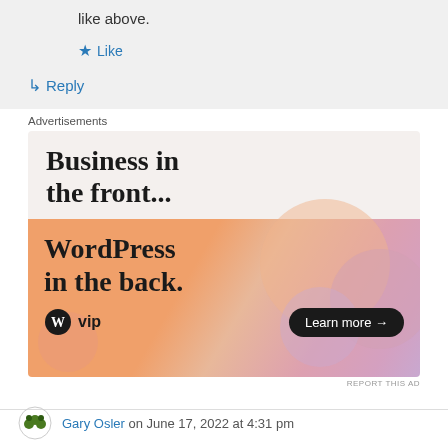like above.
★ Like
↳ Reply
Advertisements
[Figure (screenshot): WordPress VIP advertisement: 'Business in the front... WordPress in the back.' with Learn more button on orange/pink gradient background with WP VIP logo]
REPORT THIS AD
Gary Osler on June 17, 2022 at 4:31 pm